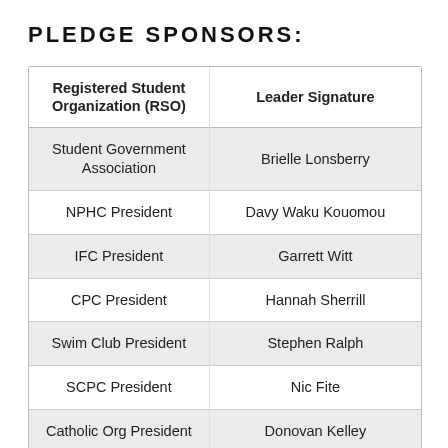PLEDGE SPONSORS:
| Registered Student Organization (RSO) | Leader Signature |
| --- | --- |
| Student Government Association | Brielle Lonsberry |
| NPHC President | Davy Waku Kouomou |
| IFC President | Garrett Witt |
| CPC President | Hannah Sherrill |
| Swim Club President | Stephen Ralph |
| SCPC President | Nic Fite |
| Catholic Org President | Donovan Kelley |